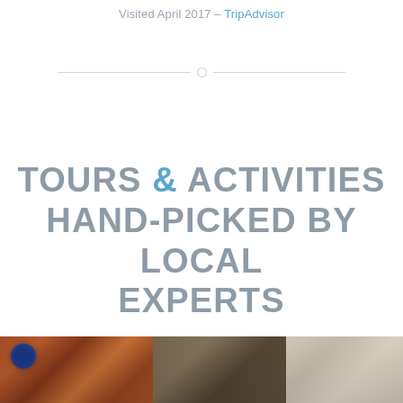Visited April 2017 — TripAdvisor
TOURS & ACTIVITIES HAND-PICKED BY LOCAL EXPERTS
[Figure (photo): Strip of three photos at the bottom of the page: left photo shows a colorful indoor market or bar scene with a circular logo/sign, middle photo shows a stone archway or tunnel interior, right photo shows bare winter trees against a light background.]